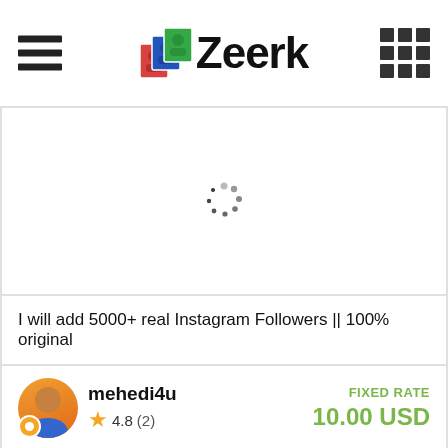Zeerk
[Figure (illustration): Loading spinner (dots in a circular arrangement) on white background]
I will add 5000+ real Instagram Followers || 100% original
mehedi4u | 4.8 (2) | FIXED RATE 10.00 USD
Last seen: 9 seconds ago